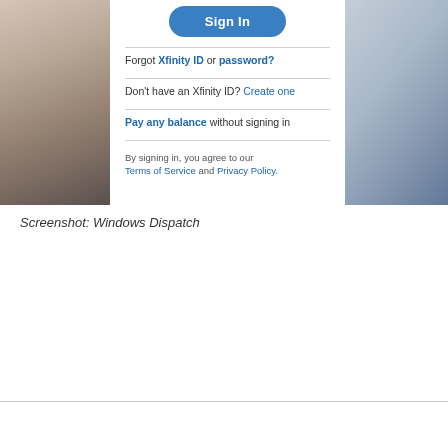[Figure (screenshot): Screenshot of Xfinity sign-in page showing a Sign In button, links for 'Forgot Xfinity ID or password?', 'Don't have an Xfinity ID? Create one', 'Pay any balance without signing in', and Terms of Service / Privacy Policy text. Flanked by photos of hands and fabric.]
Screenshot: Windows Dispatch